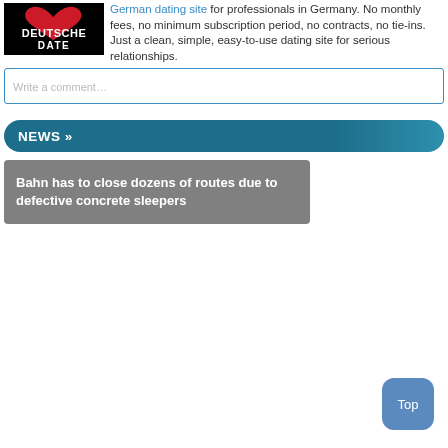[Figure (logo): Deutsche Date logo — black background with red heart and white text reading DEUTSCHE DATE]
German dating site for professionals in Germany. No monthly fees, no minimum subscription period, no contracts, no tie-ins. Just a clean, simple, easy-to-use dating site for serious relationships.
Write a comment...
NEWS »
Bahn has to close dozens of routes due to defective concrete sleepers